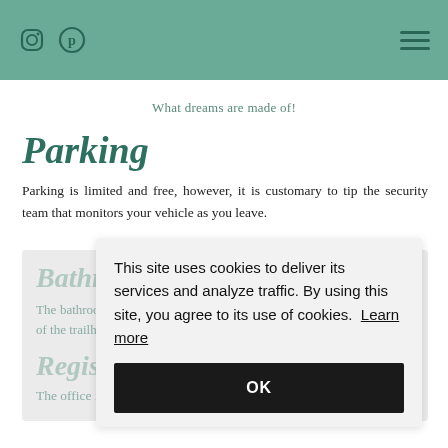[Instagram icon] [Pinterest icon] [Hamburger menu]
What dreams are made of!
Parking
Parking is limited and free, however, it is customary to tip the security team that monitors your vehicle as you leave.
Bathrooms
The bathrooms are located at the trailhead building, which is at the start of the trailhead. There are no bathrooms along the trail.
Registration
The office is open from 8 AM to 6 PM.  To register your party you
This site uses cookies to deliver its services and analyze traffic. By using this site, you agree to its use of cookies. Learn more
OK